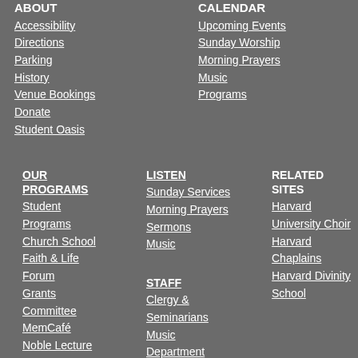ABOUT
Accessibility
Directions
Parking
History
Venue Bookings
Donate
Student Oasis
CALENDAR
Upcoming Events
Sunday Worship
Morning Prayers
Music
Programs
OUR PROGRAMS
Student Programs
Church School
Faith & Life Forum
Grants Committee
MemCafé
Noble Lecture
LISTEN
Sunday Services
Morning Prayers
Sermons
Music
STAFF
Clergy & Seminarians
Music Department
RELATED SITES
Harvard University Choir
Harvard Chaplains
Harvard Divinity School